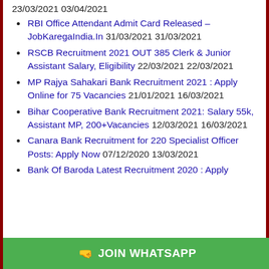23/03/2021 03/04/2021
RBI Office Attendant Admit Card Released – JobKaregaIndia.In 31/03/2021 31/03/2021
RSCB Recruitment 2021 OUT 385 Clerk & Junior Assistant Salary, Eligibility 22/03/2021 22/03/2021
MP Rajya Sahakari Bank Recruitment 2021 : Apply Online for 75 Vacancies 21/01/2021 16/03/2021
Bihar Cooperative Bank Recruitment 2021: Salary 55k, Assistant MP, 200+Vacancies 12/03/2021 16/03/2021
Canara Bank Recruitment for 220 Specialist Officer Posts: Apply Now 07/12/2020 13/03/2021
Bank Of Baroda Latest Recruitment 2020 : Apply
🤜 JOIN WHATSAPP